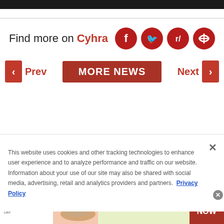Find more on Cyhra
Prev  MORE NEWS  Next
This website uses cookies and other tracking technologies to enhance user experience and to analyze performance and traffic on our website. Information about your use of our site may also be shared with social media, advertising, retail and analytics providers and partners. Privacy Policy
[Figure (infographic): ShoeMall advertisement banner with sandals image, text SANDALS and SHOP NOW button]